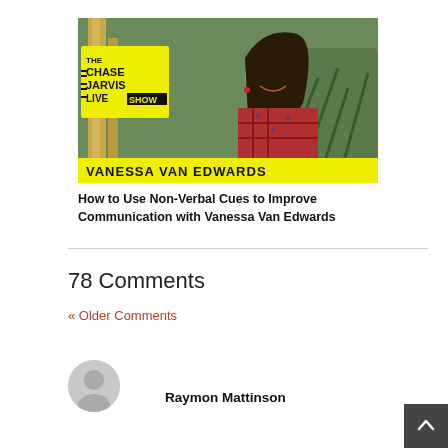[Figure (photo): Thumbnail image for The Chase Jarvis Live Show featuring Vanessa Van Edwards. Yellow logo text 'THE CHASE JARVIS LIVE SHOW' overlaid on left; woman with long dark hair in red plaid shirt smiling, outdoors with plants; yellow text at bottom reads 'VANESSA VAN EDWARDS'.]
How to Use Non-Verbal Cues to Improve Communication with Vanessa Van Edwards
78 Comments
« Older Comments
Raymon Mattinson